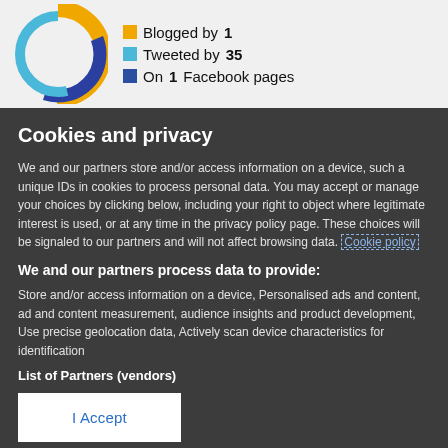[Figure (logo): Circular logo with blue, teal, and gold/yellow rings forming a donut shape]
Blogged by 1
Tweeted by 35
On 1 Facebook pages
Cookies and privacy
We and our partners store and/or access information on a device, such as unique IDs in cookies to process personal data. You may accept or manage your choices by clicking below, including your right to object where legitimate interest is used, or at any time in the privacy policy page. These choices will be signaled to our partners and will not affect browsing data. Cookie policy
We and our partners process data to provide:
Store and/or access information on a device, Personalised ads and content, ad and content measurement, audience insights and product development, Use precise geolocation data, Actively scan device characteristics for identification
List of Partners (vendors)
I Accept